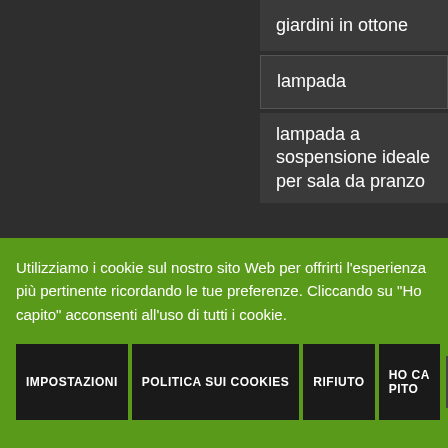giardini in ottone
lampada
lampada a sospensione ideale per sala da pranzo
Utilizziamo i cookie sul nostro sito Web per offrirti l'esperienza più pertinente ricordando le tue preferenze. Cliccando su "Ho capito" acconsenti all'uso di tutti i cookie.
IMPOSTAZIONI
POLITICA SUI COOKIES
RIFIUTO
HO CAPITO